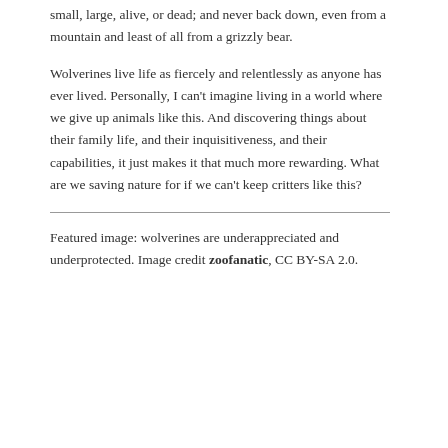small, large, alive, or dead; and never back down, even from a mountain and least of all from a grizzly bear.
Wolverines live life as fiercely and relentlessly as anyone has ever lived. Personally, I can't imagine living in a world where we give up animals like this. And discovering things about their family life, and their inquisitiveness, and their capabilities, it just makes it that much more rewarding. What are we saving nature for if we can't keep critters like this?
Featured image: wolverines are underappreciated and underprotected. Image credit zoofanatic, CC BY-SA 2.0.